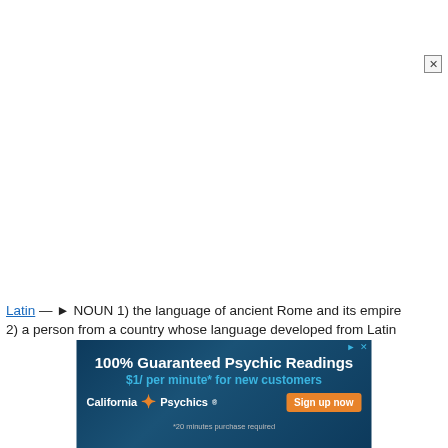Latin — ► NOUN 1) the language of ancient Rome and its empire 2) a person from a country whose language developed from Latin
[Figure (other): Advertisement banner for California Psychics: '100% Guaranteed Psychic Readings $1/ per minute* for new customers' with a 'Sign up now' button and '*20 minutes purchase required' disclaimer.]